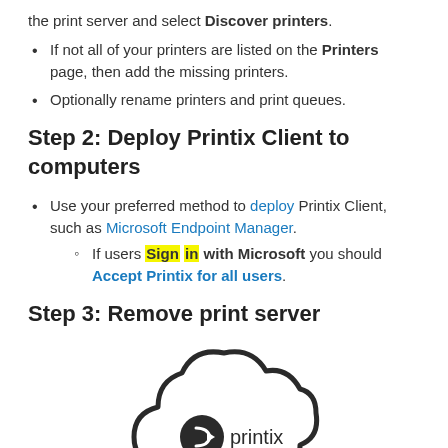the print server and select Discover printers.
If not all of your printers are listed on the Printers page, then add the missing printers.
Optionally rename printers and print queues.
Step 2: Deploy Printix Client to computers
Use your preferred method to deploy Printix Client, such as Microsoft Endpoint Manager. If users Sign in with Microsoft you should Accept Printix for all users.
Step 3: Remove print server
[Figure (logo): Printix cloud logo — a dark-outlined cloud shape with a circular arrow icon and the word 'printix' inside]